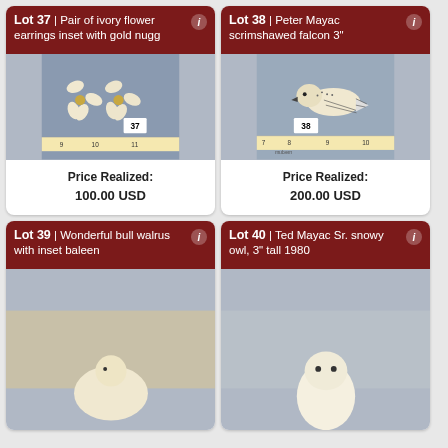[Figure (photo): Lot 37: Pair of ivory flower earrings inset with gold nuggets, shown with a ruler and lot number tag '37']
Lot 37 | Pair of ivory flower earrings inset with gold nugg
Price Realized: 100.00 USD
[Figure (photo): Lot 38: Peter Mayac scrimshawed falcon figurine 3 inches, shown with a ruler and lot number tag '38']
Lot 38 | Peter Mayac scrimshawed falcon 3"
Price Realized: 200.00 USD
[Figure (photo): Lot 39: Wonderful bull walrus with inset baleen — partially visible at bottom]
Lot 39 | Wonderful bull walrus with inset baleen
[Figure (photo): Lot 40: Ted Mayac Sr. snowy owl, 3" tall 1980 — partially visible at bottom]
Lot 40 | Ted Mayac Sr. snowy owl, 3" tall 1980